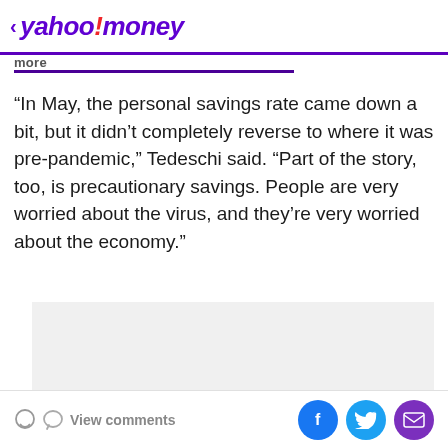< yahoo!money
more
“In May, the personal savings rate came down a bit, but it didn’t completely reverse to where it was pre-pandemic,” Tedeschi said. “Part of the story, too, is precautionary savings. People are very worried about the virus, and they’re very worried about the economy.”
[Figure (other): Advertisement placeholder box]
View comments